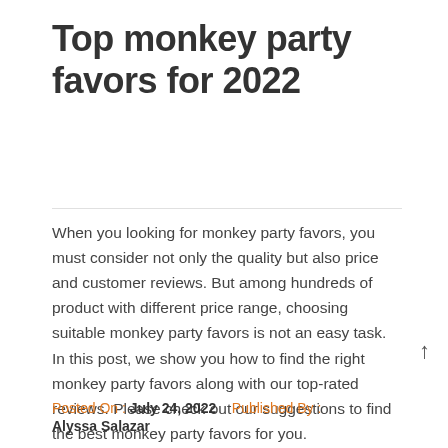Top monkey party favors for 2022
When you looking for monkey party favors, you must consider not only the quality but also price and customer reviews. But among hundreds of product with different price range, choosing suitable monkey party favors is not an easy task. In this post, we show you how to find the right monkey party favors along with our top-rated reviews. Please check out our suggestions to find the best monkey party favors for you.
Posted On : July 24, 2022  Published By : Alyssa Salazar